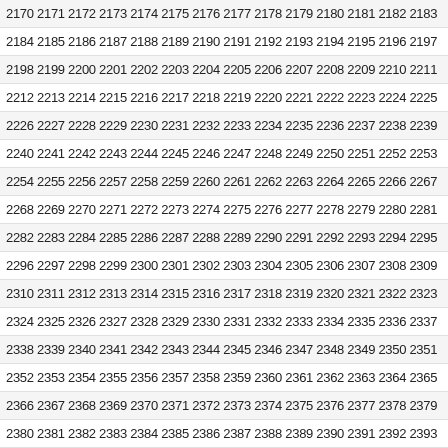2170 2171 2172 2173 2174 2175 2176 2177 2178 2179 2180 2181 2182 2183
2184 2185 2186 2187 2188 2189 2190 2191 2192 2193 2194 2195 2196 2197
2198 2199 2200 2201 2202 2203 2204 2205 2206 2207 2208 2209 2210 2211
2212 2213 2214 2215 2216 2217 2218 2219 2220 2221 2222 2223 2224 2225
2226 2227 2228 2229 2230 2231 2232 2233 2234 2235 2236 2237 2238 2239
2240 2241 2242 2243 2244 2245 2246 2247 2248 2249 2250 2251 2252 2253
2254 2255 2256 2257 2258 2259 2260 2261 2262 2263 2264 2265 2266 2267
2268 2269 2270 2271 2272 2273 2274 2275 2276 2277 2278 2279 2280 2281
2282 2283 2284 2285 2286 2287 2288 2289 2290 2291 2292 2293 2294 2295
2296 2297 2298 2299 2300 2301 2302 2303 2304 2305 2306 2307 2308 2309
2310 2311 2312 2313 2314 2315 2316 2317 2318 2319 2320 2321 2322 2323
2324 2325 2326 2327 2328 2329 2330 2331 2332 2333 2334 2335 2336 2337
2338 2339 2340 2341 2342 2343 2344 2345 2346 2347 2348 2349 2350 2351
2352 2353 2354 2355 2356 2357 2358 2359 2360 2361 2362 2363 2364 2365
2366 2367 2368 2369 2370 2371 2372 2373 2374 2375 2376 2377 2378 2379
2380 2381 2382 2383 2384 2385 2386 2387 2388 2389 2390 2391 2392 2393